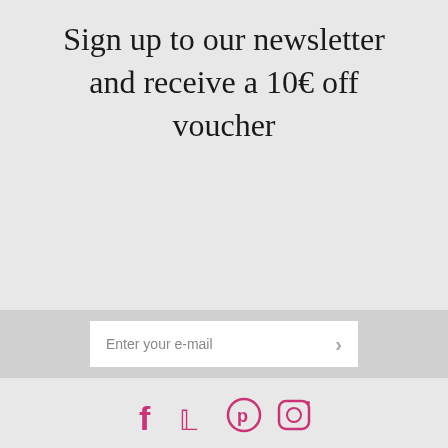Sign up to our newsletter and receive a 10€ off voucher
Enter your e-mail
[Figure (infographic): Social media icons: Facebook, Twitter, Pinterest, Instagram in pink/magenta color]
We use cookies to be sure you can get the best experience on our website. If you continue, we'll assume that you are ok to receive cookies on your device. Find out more here.
OK
SHOP
DEBOU